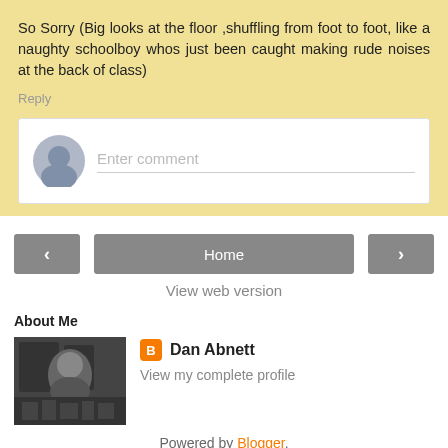So Sorry (Big looks at the floor ,shuffling from foot to foot, like a naughty schoolboy whos just been caught making rude noises at the back of class)
Reply
[Figure (screenshot): Comment entry box with avatar placeholder and 'Enter comment' placeholder text]
[Figure (screenshot): Navigation buttons: left arrow, Home, right arrow]
View web version
About Me
[Figure (photo): Black and white photo of Dan Abnett, a bald man sitting at a desk with bookshelves behind him]
Dan Abnett
View my complete profile
Powered by Blogger.